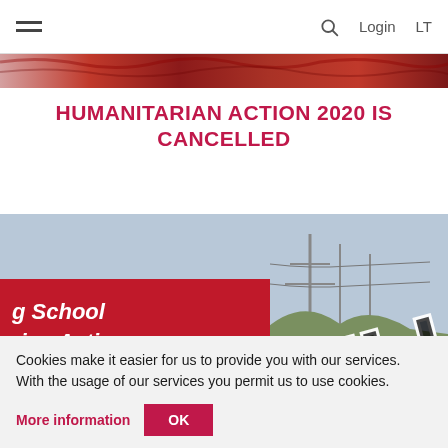☰   🔍   Login   LT
[Figure (photo): Partially visible red/auburn hair image strip at top]
HUMANITARIAN ACTION 2020 IS CANCELLED
[Figure (photo): Outdoor photo showing a red banner with white italic text reading 'g School rian Action ay, 2020' overlaid with large 'CELL' cancelled stamp text]
Cookies make it easier for us to provide you with our services. With the usage of our services you permit us to use cookies.
More information
OK